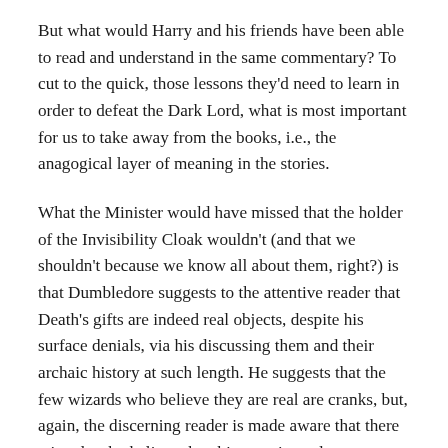But what would Harry and his friends have been able to read and understand in the same commentary? To cut to the quick, those lessons they'd need to learn in order to defeat the Dark Lord, what is most important for us to take away from the books, i.e., the anagogical layer of meaning in the stories.
What the Minister would have missed that the holder of the Invisibility Cloak wouldn't (and that we shouldn't because we know all about them, right?) is that Dumbledore suggests to the attentive reader that Death's gifts are indeed real objects, despite his surface denials, via his discussing them and their archaic history at such length. He suggests that the few wizards who believe they are real are cranks, but, again, the discerning reader is made aware that there wizards who believe the objects exist and pursue them. The minority status of those who believe they exist, who, of course are right, is a classic clue of Straussian 'hidden writing,' a pointer to a sub-text written for 'the Few.' [Leo Strauus wrote that the best philosophers, after